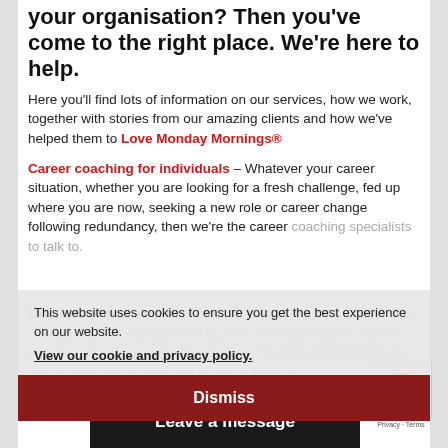your organisation? Then you've come to the right place. We're here to help.
Here you'll find lots of information on our services, how we work, together with stories from our amazing clients and how we've helped them to Love Monday Mornings®
Career coaching for individuals – Whatever your career situation, whether you are looking for a fresh challenge, fed up where you are now, seeking a new role or career change following redundancy, then we're the career coaching specialists to talk to.
Organisational Services – We can help you in many ways: from strategic career management across your organisation, career and executive coaching, through to outplacement/RightPath for groups and senior Directors facing redundancy.
This website uses cookies to ensure you get the best experience on our website.
View our cookie and privacy policy.
Dismiss
About us
Personal c... ed
Leave a message